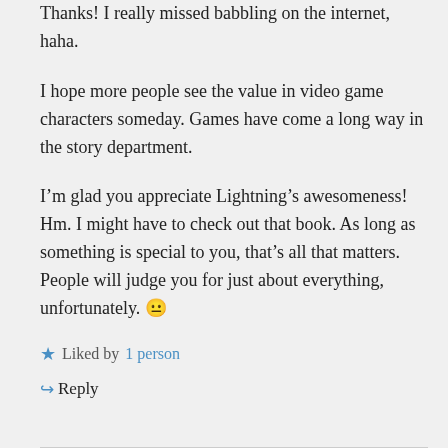Thanks! I really missed babbling on the internet, haha.
I hope more people see the value in video game characters someday. Games have come a long way in the story department.
I’m glad you appreciate Lightning’s awesomeness! Hm. I might have to check out that book. As long as something is special to you, that’s all that matters. People will judge you for just about everything, unfortunately. 😐
Liked by 1 person
Reply